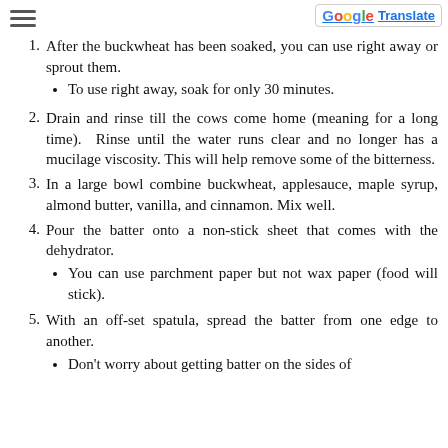1. After the buckwheat has been soaked, you can use right away or sprout them.
• To use right away, soak for only 30 minutes.
2. Drain and rinse till the cows come home (meaning for a long time). Rinse until the water runs clear and no longer has a mucilage viscosity. This will help remove some of the bitterness.
3. In a large bowl combine buckwheat, applesauce, maple syrup, almond butter, vanilla, and cinnamon. Mix well.
4. Pour the batter onto a non-stick sheet that comes with the dehydrator.
• You can use parchment paper but not wax paper (food will stick).
5. With an off-set spatula, spread the batter from one edge to another.
• Don't worry about getting batter on the sides of